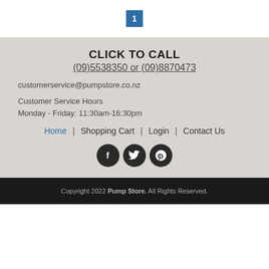1
CLICK TO CALL
(09)5538350 or (09)8870473
customerservice@pumpstore.co.nz
Customer Service Hours
Monday - Friday: 11:30am-16:30pm
Home | Shopping Cart | Login | Contact Us
[Figure (illustration): Three circular dark social media icons: Facebook (f), Twitter (bird), Pinterest (P)]
Copyright 2022 Pump Store. All Rights Reserved.